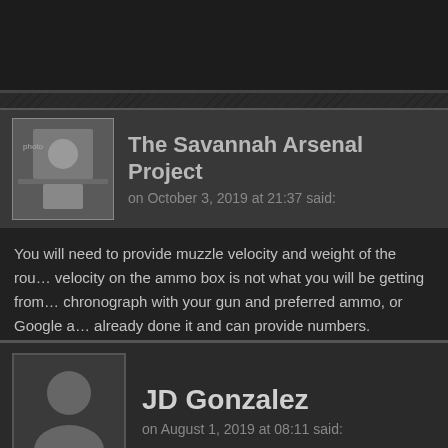[Figure (screenshot): Dark-themed blog/forum comment section screenshot showing two comments. First comment by 'The Savannah Arsenal Project' posted on October 3, 2019 at 21:37. Second comment by 'JD Gonzalez' posted on August 1, 2019 at 08:11.]
The Savannah Arsenal Project on October 3, 2019 at 21:37 said:
You will need to provide muzzle velocity and weight of the round. The velocity on the ammo box is not what you will be getting from your gun. chronograph with your gun and preferred ammo, or Google already done it and can provide numbers.
Like
JD Gonzalez on August 1, 2019 at 08:11 said:
Hi Savannah Arsenal peeps, I created a 100 yard (not meters) target on tabloid paper (11 x 17 inches) I think I got the measurements right